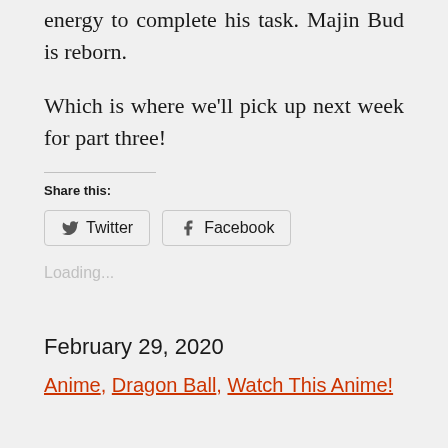energy to complete his task. Majin Bud is reborn.
Which is where we'll pick up next week for part three!
Share this:
[Figure (other): Social share buttons for Twitter and Facebook]
Loading...
February 29, 2020
Anime, Dragon Ball, Watch This Anime!